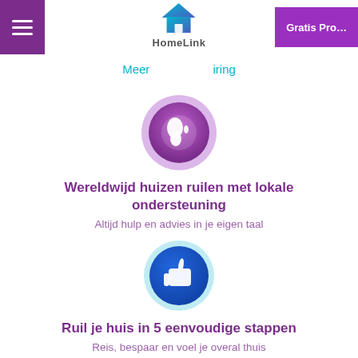HomeLink - Meer ervaring - Gratis Proef
Meer ... iring
[Figure (illustration): Globe icon in purple/teal circular gradient background representing worldwide home exchange]
Wereldwijd huizen ruilen met lokale ondersteuning
Altijd hulp en advies in je eigen taal
[Figure (illustration): Thumbs up icon in dark blue/teal circular gradient background]
Ruil je huis in 5 eenvoudige stappen
Reis, bespaar en voel je overal thuis